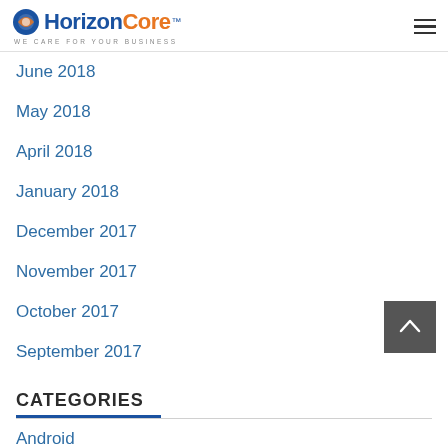HorizonCore™ WE CARE FOR YOUR BUSINESS
June 2018
May 2018
April 2018
January 2018
December 2017
November 2017
October 2017
September 2017
CATEGORIES
Android
Angular Js
API Integration